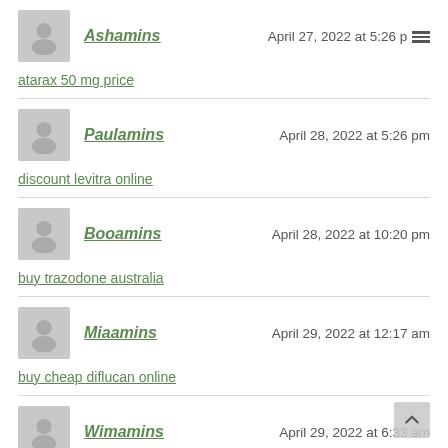Ashamins — April 27, 2022 at 5:26 pm — atarax 50 mg price
Paulamins — April 28, 2022 at 5:26 pm — discount levitra online
Booamins — April 28, 2022 at 10:20 pm — buy trazodone australia
Miaamins — April 29, 2022 at 12:17 am — buy cheap diflucan online
Wimamins — April 29, 2022 at 6:33 am